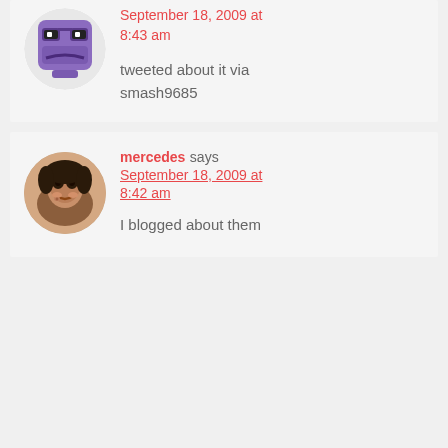[Figure (illustration): Circular avatar showing an angry purple cartoon robot/avatar with glasses, frowning expression]
September 18, 2009 at 8:43 am
tweeted about it via smash9685
[Figure (photo): Circular avatar showing a smiling woman with dark hair]
mercedes says September 18, 2009 at 8:42 am
I blogged about them